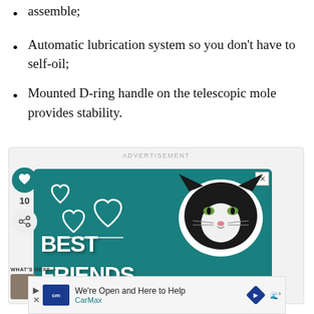assemble;
Automatic lubrication system so you don't have to self-oil;
Mounted D-ring handle on the telescopic mole provides stability.
[Figure (screenshot): Advertisement banner showing a teal background with hearts, a black-and-white cat face, and the text BEST FRIENDS in white bold letters. Below it is a CarMax advertisement bar reading 'We're Open and Here to Help' with CarMax branding.]